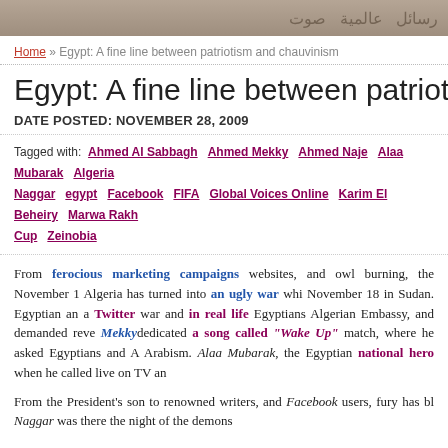Arabic banner / decorative header
Home » Egypt: A fine line between patriotism and chauvinism
Egypt: A fine line between patriotism and chauvinism
DATE POSTED: NOVEMBER 28, 2009
Tagged with: Ahmed Al Sabbagh  Ahmed Mekky  Ahmed Naje  Alaa Mubarak  Algeria  Naggar  egypt  Facebook  FIFA  Global Voices Online  Karim El Beheiry  Marwa Rakh  Cup  Zeinobia
From ferocious marketing campaigns websites, and owl burning, the November 1 Algeria has turned into an ugly war whi November 18 in Sudan. Egyptian an a Twitter war and in real life Egyptians Algerian Embassy, and demanded reve Mekky dedicated a song called "Wake Up" match, where he asked Egyptians and A Arabism. Alaa Mubarak, the Egyptian national hero when he called live on TV an
From the President's son to renowned writers, and Facebook users, fury has bl Naggar was there the night of the demons